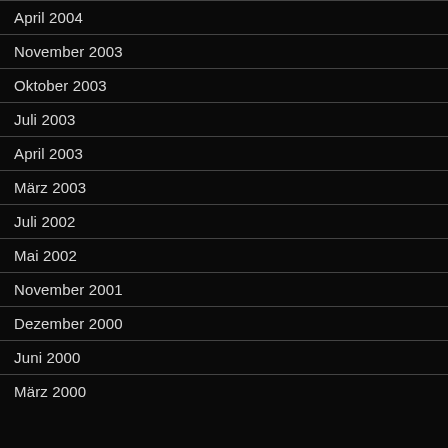April 2004
November 2003
Oktober 2003
Juli 2003
April 2003
März 2003
Juli 2002
Mai 2002
November 2001
Dezember 2000
Juni 2000
März 2000